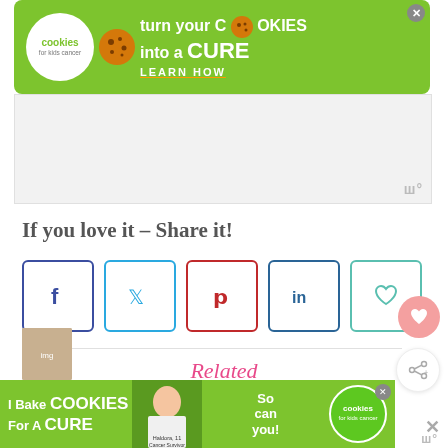[Figure (photo): Cookies for Kids Cancer advertisement banner - green background with logo, cookie icon, and text 'turn your COOKIES into a CURE LEARN HOW']
[Figure (other): Gray advertisement placeholder area with Woo logo watermark]
If you love it – Share it!
[Figure (infographic): Social share buttons: Facebook (f), Twitter (bird), Pinterest (p), LinkedIn (in), Heart/Save button]
[Figure (other): Floating heart save button (pink circle) and floating share button]
Related
[Figure (photo): Cookies for Kids Cancer bottom advertisement - green background with 'I Bake COOKIES For A CURE Haldora, 11 Cancer Survivor So can you!' and cookies logo]